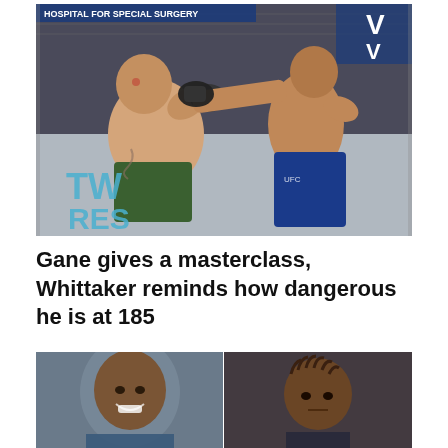[Figure (photo): Two MMA fighters in octagon, one landing a punch to the other's face. Fighter on left wearing green shorts, fighter on right in blue UFC shorts. Banner text 'HOSPITAL FOR SPECIAL SURGERY' visible in background.]
Gane gives a masterclass, Whittaker reminds how dangerous he is at 185
[Figure (photo): Side-by-side portrait photos of two men. Left: bald smiling man. Right: man with braided hair looking serious.]